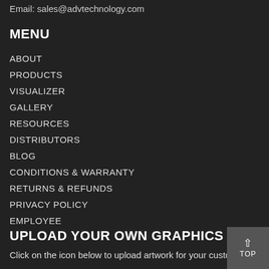Email: sales@advtechnology.com
MENU
ABOUT
PRODUCTS
VISUALIZER
GALLERY
RESOURCES
DISTRIBUTORS
BLOG
CONDITIONS & WARRANTY
RETURNS & REFUNDS
PRIVACY POLICY
EMPLOYEE
UPLOAD YOUR OWN GRAPHICS
Click on the icon below to upload artwork for your custom